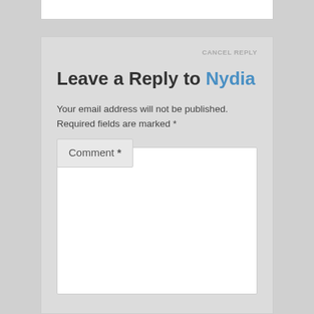Leave a Reply to Nydia  CANCEL REPLY
Your email address will not be published. Required fields are marked *
Comment *